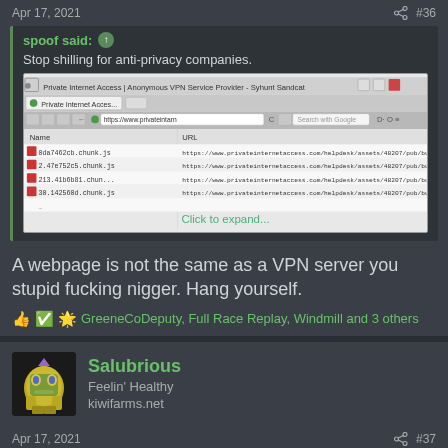Apr 17, 2021  #36
spoof said:
Stop shilling for anti-privacy companies.
[Figure (screenshot): Screenshot of Private Internet Access browser window showing file listings with Name and URL columns. Text at bottom says 'Click to expand...']
A webpage is not the same as a VPN server you stupid fucking nigger. Hang yourself.
GreeneCoDeputy, Full Race Replay, Windmill and 3 others
Salubrious
Feelin' Healthy
kiwifarms.net
Apr 17, 2021  #37